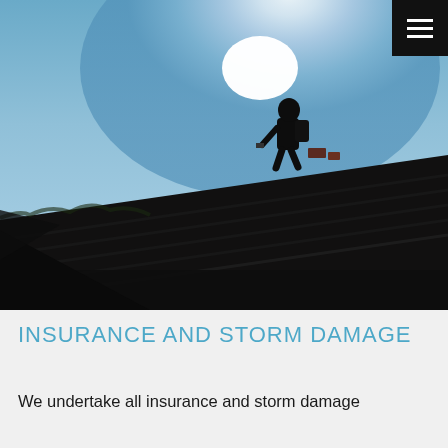[Figure (photo): Silhouette of a worker on a roof against a bright sky with the sun behind, working on roof tiles. The lower portion is very dark showing the roofline, while the upper portion shows a blue sky with a bright sun glare.]
INSURANCE AND STORM DAMAGE
We undertake all insurance and storm damage